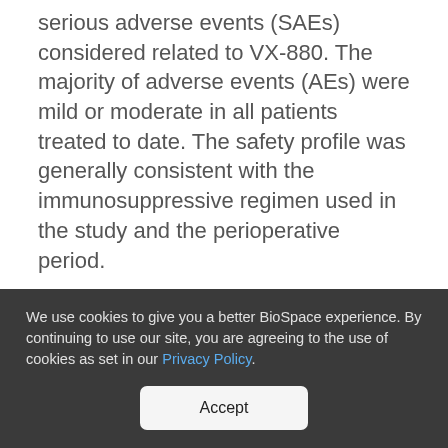serious adverse events (SAEs) considered related to VX-880. The majority of adverse events (AEs) were mild or moderate in all patients treated to date. The safety profile was generally consistent with the immunosuppressive regimen used in the study and the perioperative period.
The company also announced the VX-880 Phase 1/2 study has been placed on clinical hold in the U.S. by the Food and Drug Administration (FDA)
We use cookies to give you a better BioSpace experience. By continuing to use our site, you are agreeing to the use of cookies as set in our Privacy Policy.